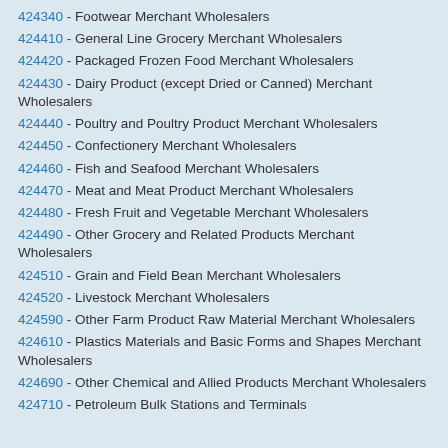424340 - Footwear Merchant Wholesalers
424410 - General Line Grocery Merchant Wholesalers
424420 - Packaged Frozen Food Merchant Wholesalers
424430 - Dairy Product (except Dried or Canned) Merchant Wholesalers
424440 - Poultry and Poultry Product Merchant Wholesalers
424450 - Confectionery Merchant Wholesalers
424460 - Fish and Seafood Merchant Wholesalers
424470 - Meat and Meat Product Merchant Wholesalers
424480 - Fresh Fruit and Vegetable Merchant Wholesalers
424490 - Other Grocery and Related Products Merchant Wholesalers
424510 - Grain and Field Bean Merchant Wholesalers
424520 - Livestock Merchant Wholesalers
424590 - Other Farm Product Raw Material Merchant Wholesalers
424610 - Plastics Materials and Basic Forms and Shapes Merchant Wholesalers
424690 - Other Chemical and Allied Products Merchant Wholesalers
424710 - Petroleum Bulk Stations and Terminals